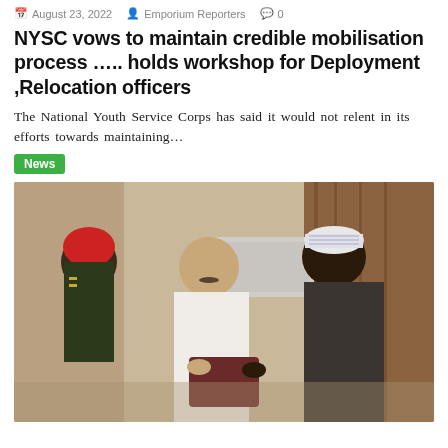August 23, 2022  Emporium Reporters  0
NYSC vows to maintain credible mobilisation process ….. holds workshop for Deployment ,Relocation officers
The National Youth Service Corps has said it would not relent in its efforts towards maintaining…
News
[Figure (photo): Three men in an indoor setting; a man in a white traditional outfit exchanges or presents an award/plaque to a man in dark traditional attire wearing a white embroidered cap, while a man in military uniform stands in the background.]